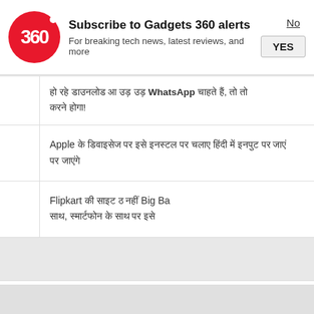[Figure (screenshot): Gadgets 360 notification subscription banner with red circle logo showing '360', title 'Subscribe to Gadgets 360 alerts', subtitle 'For breaking tech news, latest reviews, and more', with 'No' and 'YES' buttons]
हो रहे डाउनलोड आ उड़ उड़ WhatsApp चाहते हैं, तो तो करने होगा!
Apple के डिवाइसेज पर इसे इनस्टल पर चलाए हिंदी में इनपुट पर जाएं
Flipkart की साइट ठ नहीं Big Bazaar, स्मार्टफोन के साथ पर इसे
Sponsored
Ashburn: Dental Implants Are Almost Be
[Figure (screenshot): Video overlay showing a dark smartphone with multiple cameras on a pink/beige background with a red play button, and a red X close button]